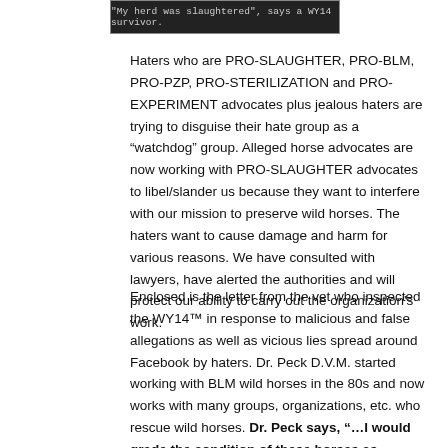[Figure (photo): Dark banner image with text: '"My herd was slaughtered", says a WY14 survivor.']
Haters who are PRO-SLAUGHTER, PRO-BLM, PRO-PZP, PRO-STERILIZATION and PRO-EXPERIMENT advocates plus jealous haters are trying to disguise their hate group as a “watchdog” group. Alleged horse advocates are now working with PRO-SLAUGHTER advocates to libel/slander us because they want to interfere with our mission to preserve wild horses. The haters want to cause damage and harm for various reasons. We have consulted with lawyers, have alerted the authorities and will protect our ability to carry out the organization's work.
Enclosed is the letter from the vet who inspected the WY14™ in response to malicious and false allegations as well as vicious lies spread around Facebook by haters. Dr. Peck D.V.M. started working with BLM wild horses in the 80s and now works with many groups, organizations, etc. who rescue wild horses. Dr. Peck says, “…I would grade the condition of these horses as excellent. They